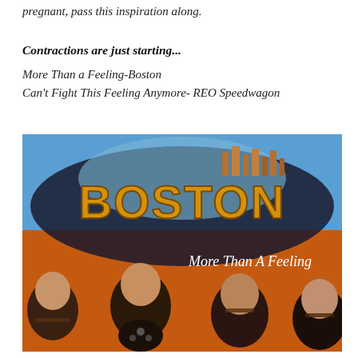pregnant, pass this inspiration along.
Contractions are just starting...
More Than a Feeling-Boston
Can't Fight This Feeling Anymore- REO Speedwagon
[Figure (photo): Album cover of Boston's 'More Than A Feeling' single, showing the band's logo (BOSTON in large gold letters on a spaceship against a blue/orange background with a city skyline) and four band members with dark hair and mustaches in the foreground.]